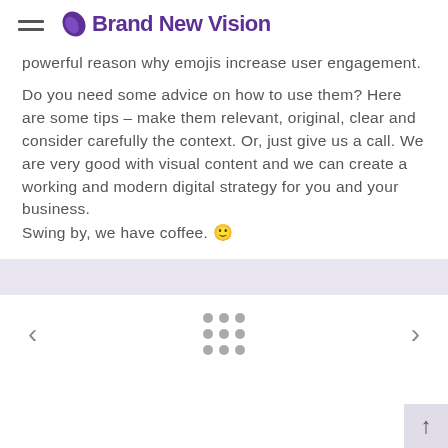Brand New Vision
powerful reason why emojis increase user engagement.
Do you need some advice on how to use them? Here are some tips – make them relevant, original, clear and consider carefully the context. Or, just give us a call. We are very good with visual content and we can create a working and modern digital strategy for you and your business.
Swing by, we have coffee. 🙂